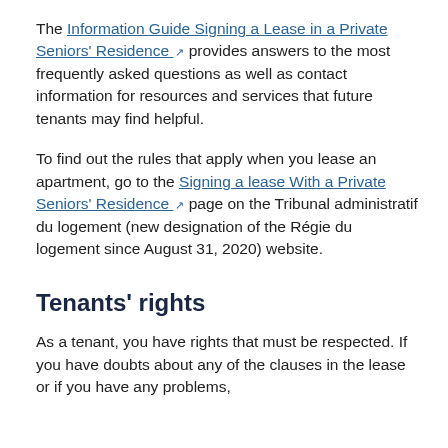The Information Guide Signing a Lease in a Private Seniors' Residence provides answers to the most frequently asked questions as well as contact information for resources and services that future tenants may find helpful.
To find out the rules that apply when you lease an apartment, go to the Signing a lease With a Private Seniors' Residence page on the Tribunal administratif du logement (new designation of the Régie du logement since August 31, 2020) website.
Tenants' rights
As a tenant, you have rights that must be respected. If you have doubts about any of the clauses in the lease or if you have any problems,